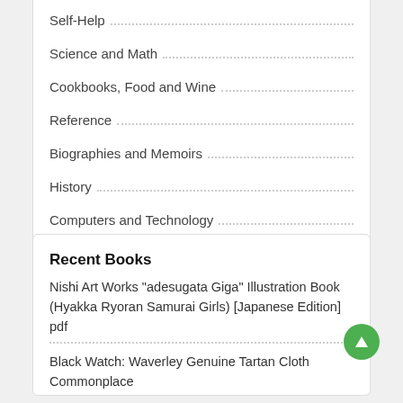Self-Help
Science and Math
Cookbooks, Food and Wine
Reference
Biographies and Memoirs
History
Computers and Technology
Recent Books
Nishi Art Works "adesugata Giga" Illustration Book (Hyakka Ryoran Samurai Girls) [Japanese Edition] pdf
Black Watch: Waverley Genuine Tartan Cloth Commonplace